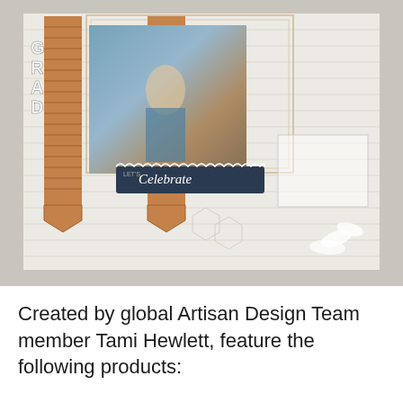[Figure (photo): A scrapbook layout page featuring a graduation photo of a young woman in a blue dress holding a graduation cap. The layout includes brick-patterned banner elements, 'GRAD' letter stickers, a 'Let's Celebrate' banner, decorative grid overlays, and a journaling box on a white wood-grain background.]
Created by global Artisan Design Team member Tami Hewlett, feature the following products: